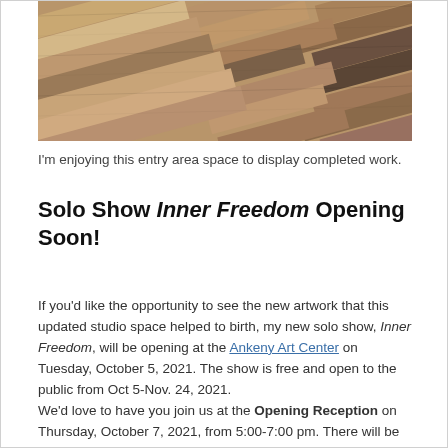[Figure (photo): Close-up photo of a wood plank floor with various brown, tan, and gray tones arranged diagonally.]
I'm enjoying this entry area space to display completed work.
Solo Show Inner Freedom Opening Soon!
If you'd like the opportunity to see the new artwork that this updated studio space helped to birth, my new solo show, Inner Freedom, will be opening at the Ankeny Art Center on Tuesday, October 5, 2021. The show is free and open to the public from Oct 5-Nov. 24, 2021.
We'd love to have you join us at the Opening Reception on Thursday, October 7, 2021, from 5:00-7:00 pm. There will be